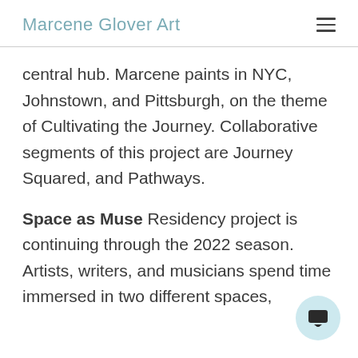Marcene Glover Art
central hub. Marcene paints in NYC, Johnstown, and Pittsburgh, on the theme of Cultivating the Journey. Collaborative segments of this project are Journey Squared, and Pathways.
Space as Muse Residency project is continuing through the 2022 season. Artists, writers, and musicians spend time immersed in two different spaces,